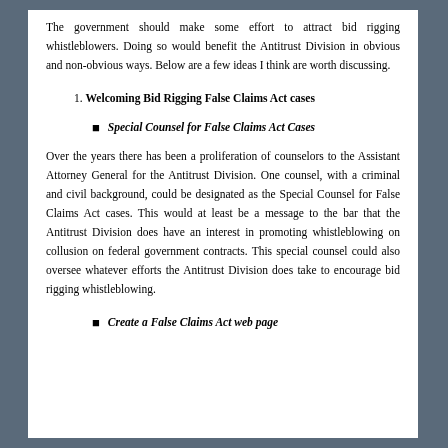The government should make some effort to attract bid rigging whistleblowers. Doing so would benefit the Antitrust Division in obvious and non-obvious ways. Below are a few ideas I think are worth discussing.
1. Welcoming Bid Rigging False Claims Act cases
Special Counsel for False Claims Act Cases
Over the years there has been a proliferation of counselors to the Assistant Attorney General for the Antitrust Division. One counsel, with a criminal and civil background, could be designated as the Special Counsel for False Claims Act cases. This would at least be a message to the bar that the Antitrust Division does have an interest in promoting whistleblowing on collusion on federal government contracts. This special counsel could also oversee whatever efforts the Antitrust Division does take to encourage bid rigging whistleblowing.
Create a False Claims Act web page